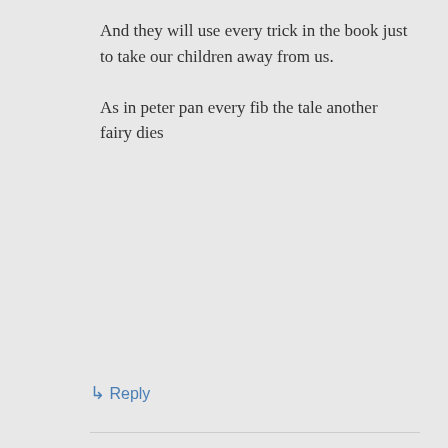And they will use every trick in the book just to take our children away from us.

As in peter pan every fib the tale another fairy dies
↳ Reply
Paul Summerfield on November 17, 2015 at 10:21 am
Privacy & Cookies: This site uses cookies. By continuing to use this website, you agree to their use.
To find out more, including how to control cookies, see here: Cookie Policy
Close and accept